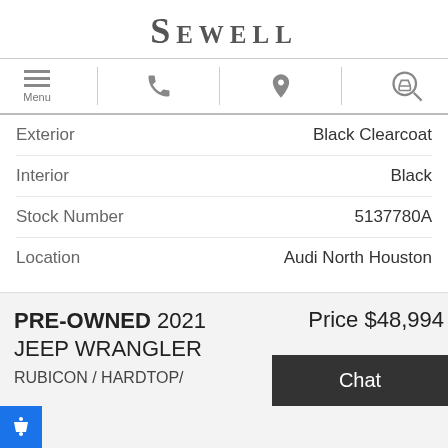SEWELL
[Figure (screenshot): Navigation bar with menu (hamburger), phone, location pin, and car search icons]
| Label | Value |
| --- | --- |
| Exterior | Black Clearcoat |
| Interior | Black |
| Stock Number | 5137780A |
| Location | Audi North Houston |
PRE-OWNED 2021 JEEP WRANGLER RUBICON / HARDTOP/
Price $48,994
Chat